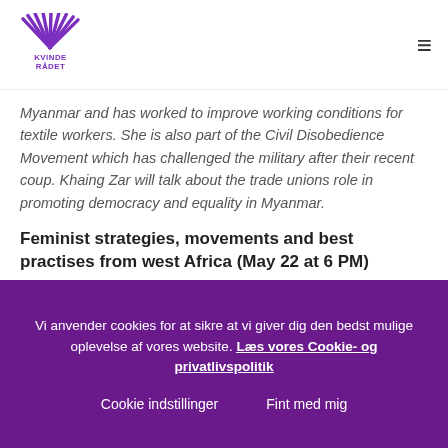[Figure (logo): Kvinde Rådet logo — purple fan/sun graphic with text KVINDE RÅDET]
Myanmar and has worked to improve working conditions for textile workers. She is also part of the Civil Disobedience Movement which has challenged the military after their recent coup. Khaing Zar will talk about the trade unions role in promoting democracy and equality in Myanmar.
Feminist strategies, movements and best practises from west Africa (May 22 at 6 PM)
Host: Amnesty International
Feminist movements, organisations and activists have long in the
Vi anvender cookies for at sikre at vi giver dig den bedst mulige oplevelse af vores website. Læs vores Cookie- og privatlivspolitik
Cookie indstillinger
Fint med mig